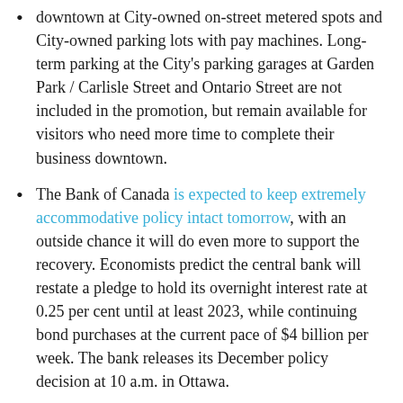downtown at City-owned on-street metered spots and City-owned parking lots with pay machines. Long-term parking at the City's parking garages at Garden Park / Carlisle Street and Ontario Street are not included in the promotion, but remain available for visitors who need more time to complete their business downtown.
The Bank of Canada is expected to keep extremely accommodative policy intact tomorrow, with an outside chance it will do even more to support the recovery. Economists predict the central bank will restate a pledge to hold its overnight interest rate at 0.25 per cent until at least 2023, while continuing bond purchases at the current pace of $4 billion per week. The bank releases its December policy decision at 10 a.m. in Ottawa.
The Canadian Chamber of Commerce has completed its broad consultations into tax reform, and is sharing the preliminary results. A